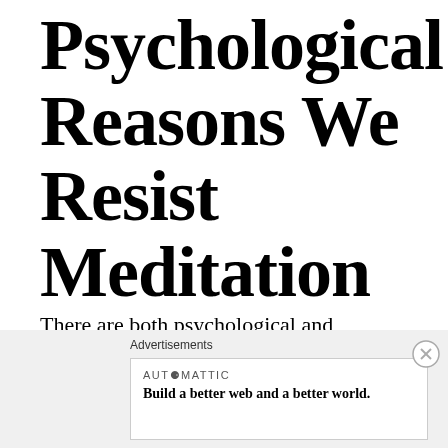Psychological Reasons We Resist Meditation
There are both psychological and physical reasons why most people resist meditation guidance and derive limited benefits when they follow the instructions.
Advertisements
AUTOMATTIC
Build a better web and a better world.